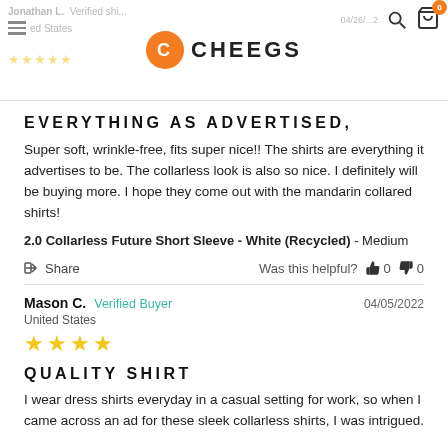Cheegs header with logo, search and cart icons, partially visible review by Jonathan L.
EVERYTHING AS ADVERTISED,
Super soft, wrinkle-free, fits super nice!! The shirts are everything it advertises to be. The collarless look is also so nice. I definitely will be buying more. I hope they come out with the mandarin collared shirts!
2.0 Collarless Future Short Sleeve - White (Recycled) - Medium
Share   Was this helpful? 0  0
Mason C.  Verified Buyer  04/05/2022
United States
QUALITY SHIRT
I wear dress shirts everyday in a casual setting for work, so when I came across an ad for these sleek collarless shirts, I was intrigued.